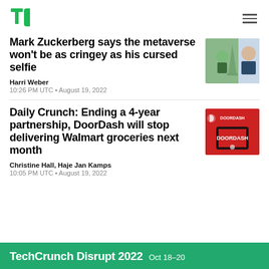[Figure (logo): TechCrunch TC green logo]
Mark Zuckerberg says the metaverse won’t be as cringey as his cursed selfie
[Figure (photo): Metaverse avatar and Mark Zuckerberg photo]
Harri Weber
10:26 PM UTC • August 19, 2022
Daily Crunch: Ending a 4-year partnership, DoorDash will stop delivering Walmart groceries next month
[Figure (photo): DoorDash logo on red background with phone]
Christine Hall, Haje Jan Kamps
10:05 PM UTC • August 19, 2022
TechCrunch Disrupt 2022   Oct 18-20